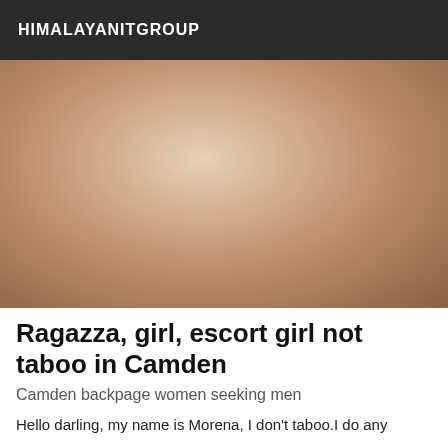HIMALAYANITGROUP
[Figure (photo): Close-up photo of a tattooed person]
Ragazza, girl, escort girl not taboo in Camden
Camden backpage women seeking men
Hello darling, my name is Morena, I don't taboo.I do any